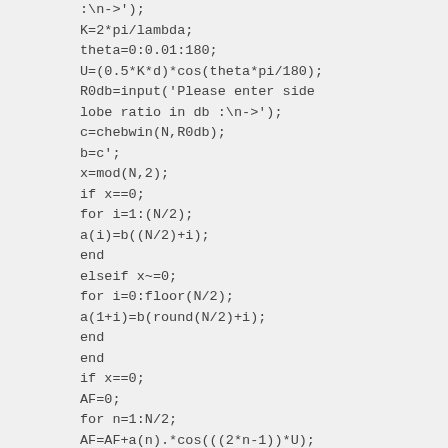:\n->');
K=2*pi/lambda;
theta=0:0.01:180;
U=(0.5*K*d)*cos(theta*pi/180);
R0db=input('Please enter side
lobe ratio in db :\n->');
c=chebwin(N,R0db);
b=c';
x=mod(N,2);
if x==0;
for i=1:(N/2);
a(i)=b((N/2)+i);
end
elseif x~=0;
for i=0:floor(N/2);
a(1+i)=b(round(N/2)+i);
end
end
if x==0;
AF=0;
for n=1:N/2;
AF=AF+a(n).*cos(((2*n-1))*U);